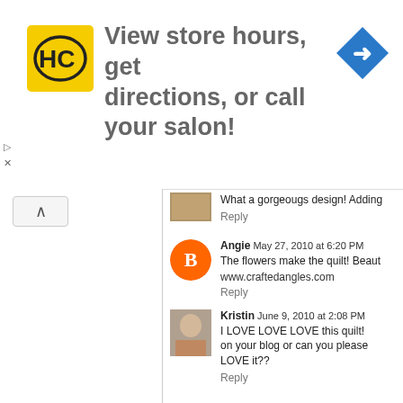[Figure (infographic): Advertisement banner: HC logo on yellow background, text 'View store hours, get directions, or call your salon!', blue diamond arrow icon on right]
What a gorgeougs design! Adding
Reply
Angie  May 27, 2010 at 6:20 PM
The flowers make the quilt! Beaut
www.craftedangles.com
Reply
Kristin  June 9, 2010 at 2:08 PM
I LOVE LOVE LOVE this quilt! on your blog or can you please LOVE it??
Reply